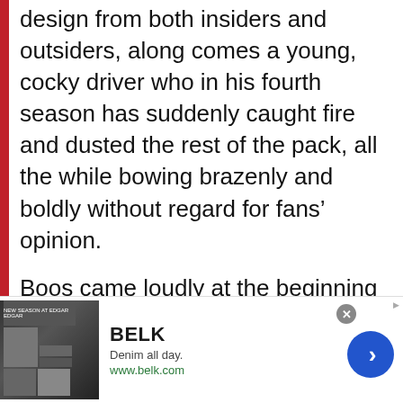design from both insiders and outsiders, along comes a young, cocky driver who in his fourth season has suddenly caught fire and dusted the rest of the pack, all the while bowing brazenly and boldly without regard for fans’ opinion.
Boos came loudly at the beginning of the season, especially after he had an incident with the sport’s golden boy. And after a while came cheers too. And the racing press was suddenly filled with stories by writers fumbling to reach those who both loved or hated Busch. The reaction to Kyle is something NASCAR desperately needed:
[Figure (other): Advertisement banner for BELK department store featuring denim clothing. Shows small product images on left, brand name BELK, tagline 'Denim all day.', and website www.belk.com. Has a close button and a blue arrow navigation button.]